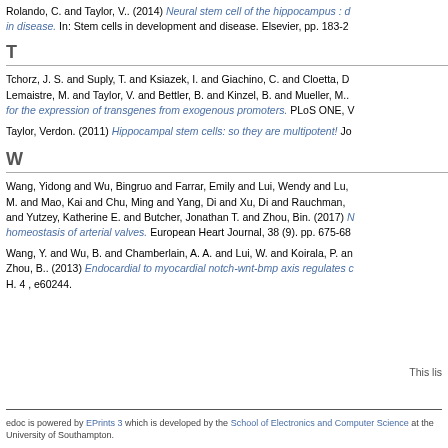Rolando, C. and Taylor, V.. (2014) Neural stem cell of the hippocampus : d... in disease. In: Stem cells in development and disease. Elsevier, pp. 183-2...
T
Tchorz, J. S. and Suply, T. and Ksiazek, I. and Giachino, C. and Cloetta, D... Lemaistre, M. and Taylor, V. and Bettler, B. and Kinzel, B. and Mueller, M... for the expression of transgenes from exogenous promoters. PLoS ONE, V...
Taylor, Verdon. (2011) Hippocampal stem cells: so they are multipotent! Jo...
W
Wang, Yidong and Wu, Bingruo and Farrar, Emily and Lui, Wendy and Lu,... M. and Mao, Kai and Chu, Ming and Yang, Di and Xu, Di and Rauchman,... and Yutzey, Katherine E. and Butcher, Jonathan T. and Zhou, Bin. (2017) N... homeostasis of arterial valves. European Heart Journal, 38 (9). pp. 675-68...
Wang, Y. and Wu, B. and Chamberlain, A. A. and Lui, W. and Koirala, P. an... Zhou, B.. (2013) Endocardial to myocardial notch-wnt-bmp axis regulates c... H. 4 , e60244.
This lis...
edoc is powered by EPrints 3 which is developed by the School of Electronics and Computer Science at the University of Southampton.